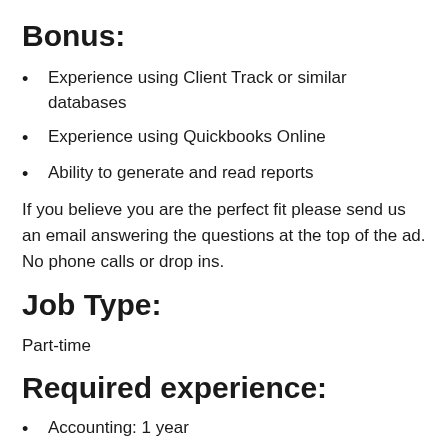Bonus:
Experience using Client Track or similar databases
Experience using Quickbooks Online
Ability to generate and read reports
If you believe you are the perfect fit please send us an email answering the questions at the top of the ad. No phone calls or drop ins.
Job Type:
Part-time
Required experience:
Accounting: 1 year